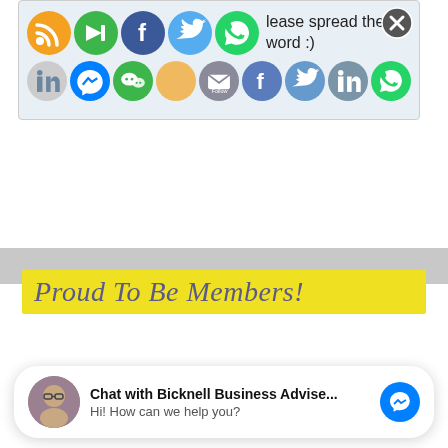[Figure (screenshot): Social media share popup with multiple social icons (RSS, redirect, Facebook, Twitter, WhatsApp, LinkedIn, Messenger, WeChat, email Follow, Facebook, Twitter, LinkedIn, WhatsApp) and text 'Enjoy s g lease spread the word :)'. A close (X) button in top-right corner.]
[Figure (infographic): Yellow banner with italic cursive text 'Proud To Be Members!' in steel blue color on yellow background.]
[Figure (screenshot): Chat widget at bottom: avatar of a man with glasses, text 'Chat with Bicknell Business Advise...' and 'Hi! How can we help you?', with a blue Messenger icon button on the right.]